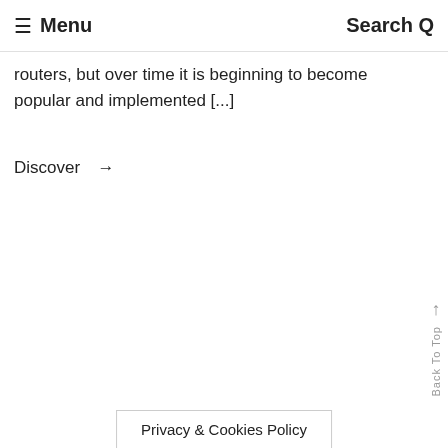≡ Menu  Search Q
routers, but over time it is beginning to become popular and implemented [...]
Discover →
↑ Back To Top
Privacy & Cookies Policy